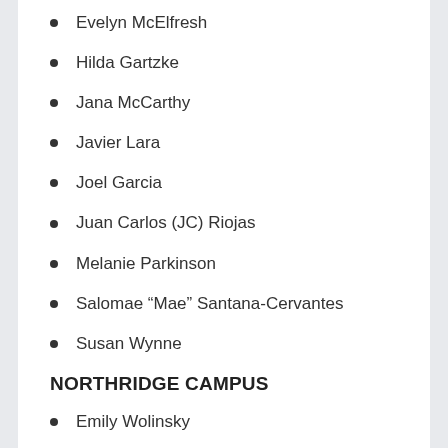Evelyn McElfresh
Hilda Gartzke
Jana McCarthy
Javier Lara
Joel Garcia
Juan Carlos (JC) Riojas
Melanie Parkinson
Salomae “Mae” Santana-Cervantes
Susan Wynne
NORTHRIDGE CAMPUS
Emily Wolinsky